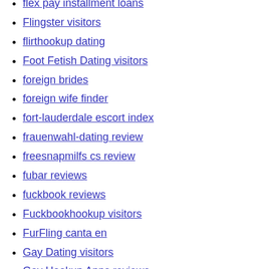flex pay installment loans
Flingster visitors
flirthookup dating
Foot Fetish Dating visitors
foreign brides
foreign wife finder
fort-lauderdale escort index
frauenwahl-dating review
freesnapmilfs cs review
fubar reviews
fuckbook reviews
Fuckbookhookup visitors
FurFling canta en
Gay Dating visitors
Gay Hookup Apps reviews
get a payday loan
get it on review
getbadcreditloan.com payday loans online no credit check instant approval